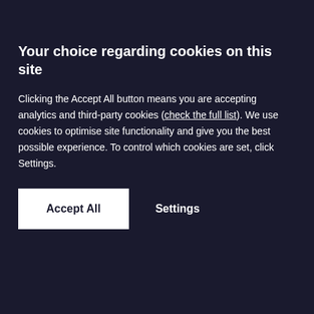Your choice regarding cookies on this site
Clicking the Accept All button means you are accepting analytics and third-party cookies (check the full list). We use cookies to optimise site functionality and give you the best possible experience. To control which cookies are set, click Settings.
Accept All
Settings
Debt Recovery - Our fees & services
Employment - Our fees and services